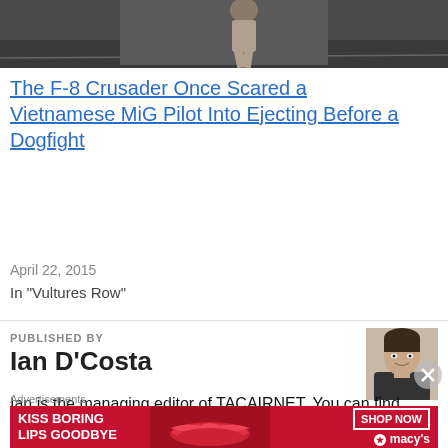[Figure (photo): Partial view of a person running or moving on a surface, cropped at top of page]
The F-8 Crusader Once Scared a Vietnamese MiG Pilot Into Ejecting Before a Dogfight
April 22, 2015
In "Vultures Row"
PUBLISHED BY
Ian D'Costa
[Figure (photo): Small headshot portrait of Ian D'Costa, male, dark shirt]
Ian is the managing editor of TACAIRNET. You can find his work on Military Times, Business Insider, We Are The Mighty, Real Clear Defense, and more.
Advertisements
[Figure (infographic): Macy's advertisement banner: KISS BORING LIPS GOODBYE with SHOP NOW button and macys logo]